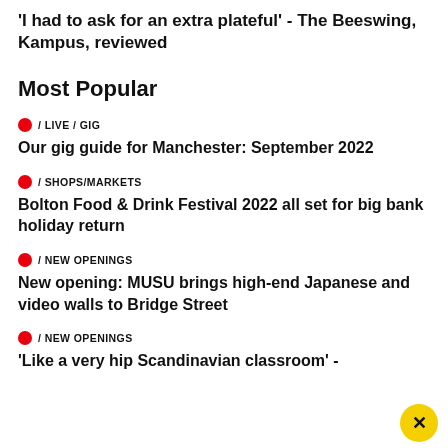'I had to ask for an extra plateful' - The Beeswing, Kampus, reviewed
Most Popular
/ LIVE / GIG
Our gig guide for Manchester: September 2022
/ SHOPS/MARKETS
Bolton Food & Drink Festival 2022 all set for big bank holiday return
/ NEW OPENINGS
New opening: MUSU brings high-end Japanese and video walls to Bridge Street
/ NEW OPENINGS
'Like a very hip Scandinavian classroom' -